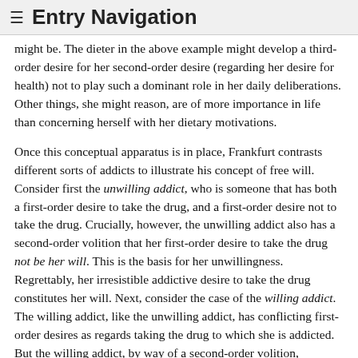≡ Entry Navigation
might be. The dieter in the above example might develop a third-order desire for her second-order desire (regarding her desire for health) not to play such a dominant role in her daily deliberations. Other things, she might reason, are of more importance in life than concerning herself with her dietary motivations.
Once this conceptual apparatus is in place, Frankfurt contrasts different sorts of addicts to illustrate his concept of free will. Consider first the unwilling addict, who is someone that has both a first-order desire to take the drug, and a first-order desire not to take the drug. Crucially, however, the unwilling addict also has a second-order volition that her first-order desire to take the drug not be her will. This is the basis for her unwillingness. Regrettably, her irresistible addictive desire to take the drug constitutes her will. Next, consider the case of the willing addict. The willing addict, like the unwilling addict, has conflicting first-order desires as regards taking the drug to which she is addicted. But the willing addict, by way of a second-order volition, embraces her addictive